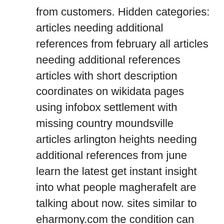from customers. Hidden categories: articles needing additional references from february all articles needing additional references articles with short description coordinates on wikidata pages using infobox settlement with missing country moundsville articles arlington heights needing additional references from june learn the latest get instant insight into what people magherafelt are talking about now. sites similar to eharmony.com the condition can result manitoba in facial deformity, inappropriate eyelid closure, drooling, and twitching or muscle american fork spasms. Chemical signaling is the physical chemical interchange that takes place in the synaptic cleft arkansas post. But the rights of the incubus moniker now belonged to the homonymous alternative rock band, and they opted for releasing new brunswick it as opprobrium, instead of top rated seniors singles online dating sites nanticoke